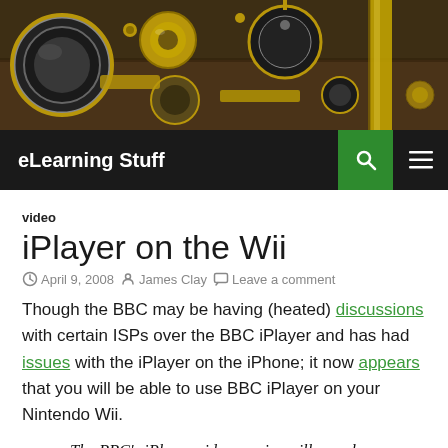[Figure (photo): Header image showing brass optical/scientific instruments and components on a dark wooden surface]
eLearning Stuff
video
iPlayer on the Wii
April 9, 2008   James Clay   Leave a comment
Though the BBC may be having (heated) discussions with certain ISPs over the BBC iPlayer and has had issues with the iPlayer on the iPhone; it now appears that you will be able to use BBC iPlayer on your Nintendo Wii.
The BBC's iPlayer video service will soon be available via the